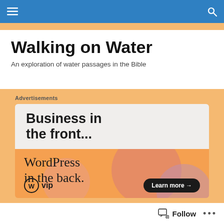Walking on Water — navigation bar
Walking on Water
An exploration of water passages in the Bible
Advertisements
[Figure (other): WordPress VIP advertisement showing 'Business in the front...' on grey background and 'WordPress in the back.' on an orange background with decorative circles, WP VIP logo, and 'Learn more →' button]
Follow  •••